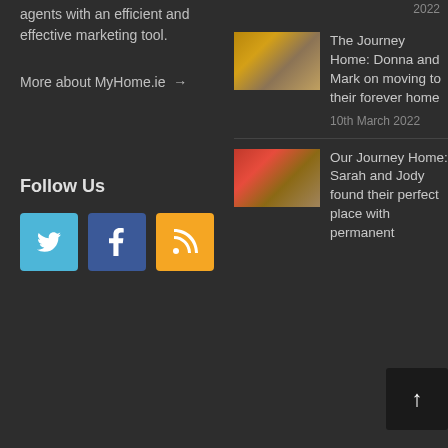agents with an efficient and effective marketing tool.
More about MyHome.ie →
Follow Us
[Figure (other): Social media icon buttons: Twitter (blue), Facebook (dark blue), RSS (orange)]
2022
[Figure (photo): Photo of a couple (woman in yellow top, man in blue shirt) standing together indoors]
The Journey Home: Donna and Mark on moving to their forever home
10th March 2022
[Figure (photo): Photo of a family (woman in red top, man, and children) sitting on a couch with a dog]
Our Journey Home: Sarah and Jody found their perfect place with permanent